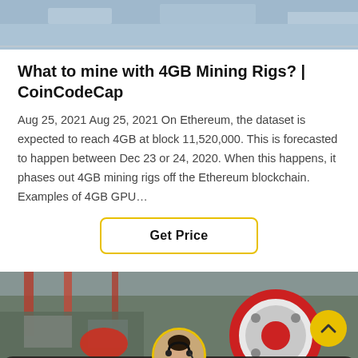[Figure (photo): Top portion of a factory/industrial machinery image, showing metallic structure with light tones]
What to mine with 4GB Mining Rigs? | CoinCodeCap
Aug 25, 2021 Aug 25, 2021 On Ethereum, the dataset is expected to reach 4GB at block 11,520,000. This is forecasted to happen between Dec 23 or 24, 2020. When this happens, it phases out 4GB mining rigs off the Ethereum blockchain. Examples of 4GB GPU…
[Figure (other): Get Price button with yellow border]
[Figure (photo): Industrial factory interior showing large red and white machinery/wheels. Includes a customer service avatar circle at bottom center and a yellow arrow button at right. 'Leave Message' bar at bottom with 'Chat Online' text partially visible.]